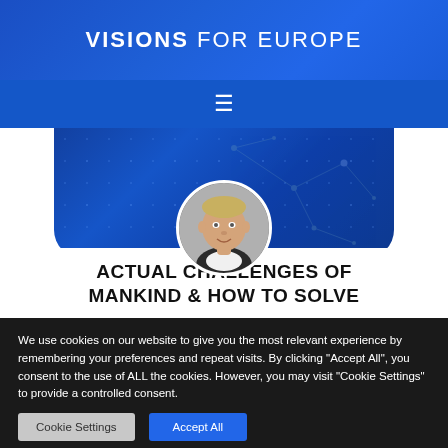VISIONS FOR EUROPE
[Figure (screenshot): Navigation hamburger menu icon on a blue bar]
[Figure (photo): Circular headshot photo of a man in a suit, placed over a dark blue hero card with network graphic pattern]
ACTUAL CHALLENGES OF MANKIND & HOW TO SOLVE
We use cookies on our website to give you the most relevant experience by remembering your preferences and repeat visits. By clicking "Accept All", you consent to the use of ALL the cookies. However, you may visit "Cookie Settings" to provide a controlled consent.
Cookie Settings | Accept All